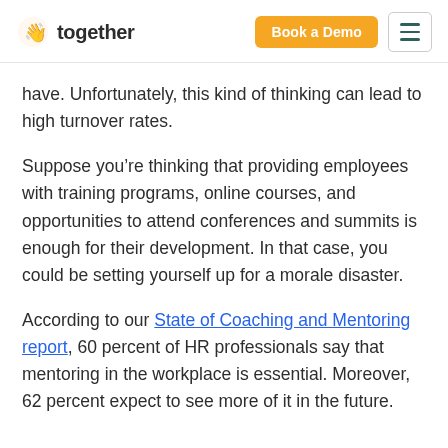together | Book a Demo
have. Unfortunately, this kind of thinking can lead to high turnover rates.
Suppose you’re thinking that providing employees with training programs, online courses, and opportunities to attend conferences and summits is enough for their development. In that case, you could be setting yourself up for a morale disaster.
According to our State of Coaching and Mentoring report, 60 percent of HR professionals say that mentoring in the workplace is essential. Moreover, 62 percent expect to see more of it in the future.